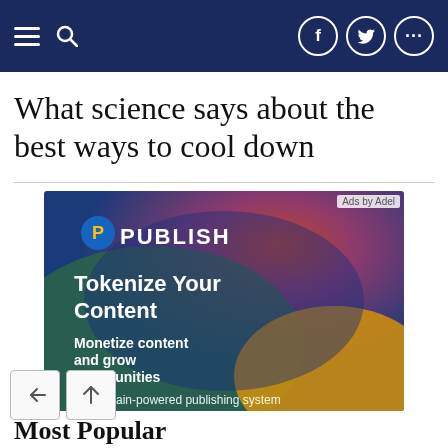Navigation bar with hamburger menu, search icon, Facebook, Twitter, and more icons
What science says about the best ways to cool down
[Figure (infographic): Advertisement banner for PUBLISH platform. Colorful gradient background (blue, green, orange, red). Shows PUBLISH logo with circular P icon, text: 'Tokenize Your Content', 'Monetize content and grow communities', 'Blockchain-powered publishing system'. Badge: 'Ads by Adel'.]
Most Popular